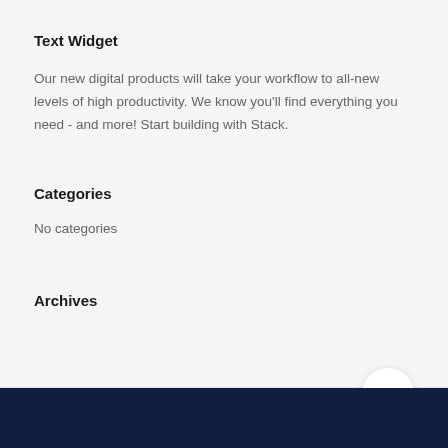Text Widget
Our new digital products will take your workflow to all-new levels of high productivity. We know you'll find everything you need - and more! Start building with Stack.
Categories
No categories
Archives